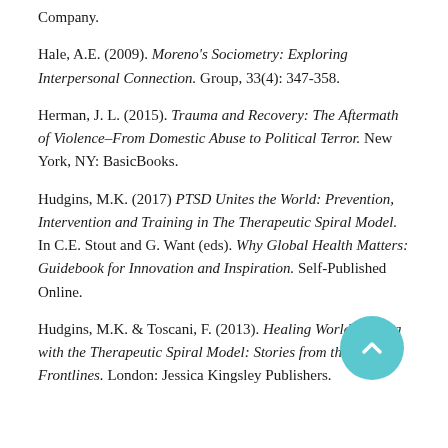Company.
Hale, A.E. (2009). Moreno's Sociometry: Exploring Interpersonal Connection. Group, 33(4): 347-358.
Herman, J. L. (2015). Trauma and Recovery: The Aftermath of Violence–From Domestic Abuse to Political Terror. New York, NY: BasicBooks.
Hudgins, M.K. (2017) PTSD Unites the World: Prevention, Intervention and Training in The Therapeutic Spiral Model. In C.E. Stout and G. Want (eds). Why Global Health Matters: Guidebook for Innovation and Inspiration. Self-Published Online.
Hudgins, M.K. & Toscani, F. (2013). Healing World Trauma with the Therapeutic Spiral Model: Stories from the Frontlines. London: Jessica Kingsley Publishers.